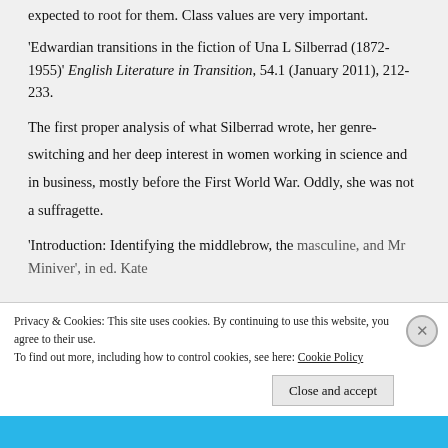expected to root for them. Class values are very important.
'Edwardian transitions in the fiction of Una L Silberrad (1872-1955)' English Literature in Transition, 54.1 (January 2011), 212-233.
The first proper analysis of what Silberrad wrote, her genre-switching and her deep interest in women working in science and in business, mostly before the First World War. Oddly, she was not a suffragette.
'Introduction: Identifying the middlebrow, the masculine, and Mr Miniver', in ed. Kate
Privacy & Cookies: This site uses cookies. By continuing to use this website, you agree to their use.
To find out more, including how to control cookies, see here: Cookie Policy
Close and accept